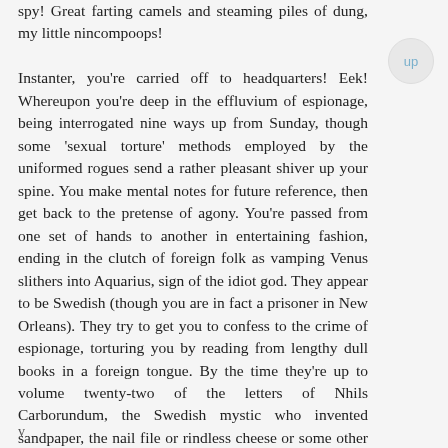spy! Great farting camels and steaming piles of dung, my little nincompoops!

Instanter, you're carried off to headquarters! Eek! Whereupon you're deep in the effluvium of espionage, being interrogated nine ways up from Sunday, though some 'sexual torture' methods employed by the uniformed rogues send a rather pleasant shiver up your spine. You make mental notes for future reference, then get back to the pretense of agony. You're passed from one set of hands to another in entertaining fashion, ending in the clutch of foreign folk as vamping Venus slithers into Aquarius, sign of the idiot god. They appear to be Swedish (though you are in fact a prisoner in New Orleans). They try to get you to confess to the crime of espionage, torturing you by reading from lengthy dull books in a foreign tongue. By the time they're up to volume twenty-two of the letters of Nhils Carborundum, the Swedish mystic who invented sandpaper, the nail file or rindless cheese or some other unspeakable gewgaw the Swedes find fascinating, you're ready to confess to anything! From the crimes of Jack the Ripper to the destruction of Maldek, you'll hold up your hand as long as they stop! You even ask to be returned to the sexual torture chamber! But they're too angry to